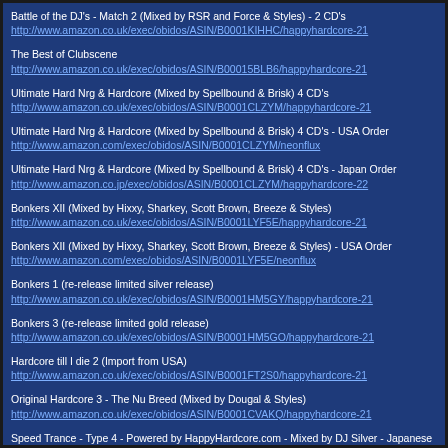Battle of the DJ's - Match 2 (Mixed by RSR and Force & Styles) - 2 CD's
http://www.amazon.co.uk/exec/obidos/ASIN/B0001KIHHC/happyhardcore-21
The Best of Clubscene
http://www.amazon.co.uk/exec/obidos/ASIN/B00015BLB6/happyhardcore-21
Ultimate Hard Nrg & Hardcore (Mixed by Spellbound & Brisk) 4 CD's
http://www.amazon.co.uk/exec/obidos/ASIN/B0001CLZYM/happyhardcore-21
Ultimate Hard Nrg & Hardcore (Mixed by Spellbound & Brisk) 4 CD's - USA Order
http://www.amazon.com/exec/obidos/ASIN/B0001CLZYM/neonflux
Ultimate Hard Nrg & Hardcore (Mixed by Spellbound & Brisk) 4 CD's - Japan Order
http://www.amazon.co.jp/exec/obidos/ASIN/B0001CLZYM/happyhardcore-22
Bonkers XII (Mixed by Hixxy, Sharkey, Scott Brown, Breeze & Styles)
http://www.amazon.co.uk/exec/obidos/ASIN/B0001LYF5E/happyhardcore-21
Bonkers XII (Mixed by Hixxy, Sharkey, Scott Brown, Breeze & Styles) - USA Order
http://www.amazon.com/exec/obidos/ASIN/B0001LYF5E/neonflux
Bonkers 1 (re-release limited silver release)
http://www.amazon.co.uk/exec/obidos/ASIN/B0001HM5GY/happyhardcore-21
Bonkers 3 (re-release limited gold release)
http://www.amazon.co.uk/exec/obidos/ASIN/B0001HM5GO/happyhardcore-21
Hardcore till I die 2 (Import from USA)
http://www.amazon.co.uk/exec/obidos/ASIN/B0001FT2S0/happyhardcore-21
Original Hardcore 3 - The Nu Breed (Mixed by Dougal & Styles)
http://www.amazon.co.uk/exec/obidos/ASIN/B0001CVAKQ/happyhardcore-21
Speed Trance - Type 4 - Powered by HappyHardcore.com - Mixed by DJ Silver - Japanese Release - US Order
http://www.amazon.com/exec/obidos/ASIN/B0000CD7TM/neonflux
Speed Trance - Type 4 - Powered by HappyHardcore.com - Mixed by DJ Silver - Japanese Release
http://www.amazon.co.jp/exec/obidos/ASIN/B0000CD7TM/happyhardcore-22